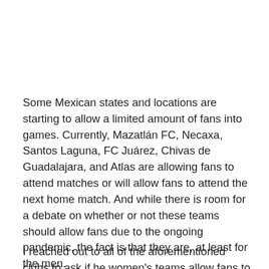Some Mexican states and locations are starting to allow a limited amount of fans into games. Currently, Mazatlán FC, Necaxa, Santos Laguna, FC Juárez, Chivas de Guadalajara, and Atlas are allowing fans to attend matches or will allow fans to attend the next home match. And while there is room for a debate on whether or not these teams should allow fans due to the ongoing pandemic, the fact is that they are, at least for the men.
I reached out to all of the aforementioned clubs to ask if he women's teams allow fans to attend the next